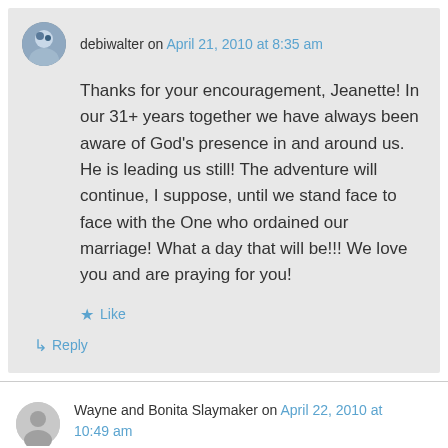debiwalter on April 21, 2010 at 8:35 am
Thanks for your encouragement, Jeanette! In our 31+ years together we have always been aware of God’s presence in and around us. He is leading us still! The adventure will continue, I suppose, until we stand face to face with the One who ordained our marriage! What a day that will be!!! We love you and are praying for you!
★ Like
↳ Reply
Wayne and Bonita Slaymaker on April 22, 2010 at 10:49 am